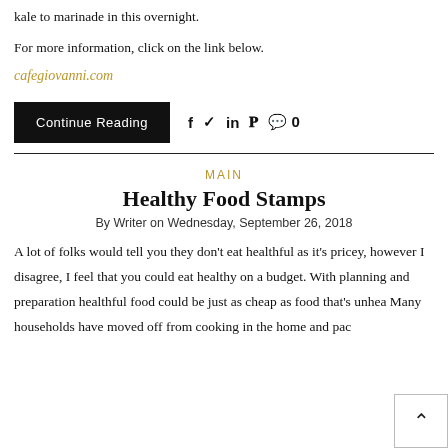kale to marinade in this overnight.
For more information, click on the link below.
cafegiovanni.com
Continue Reading
MAIN
Healthy Food Stamps
By Writer on Wednesday, September 26, 2018
A lot of folks would tell you they don't eat healthful as it's pricey, however I disagree, I feel that you could eat healthy on a budget. With planning and preparation healthful food could be just as cheap as food that's unhea... Many households have moved off from cooking in the home and pac...